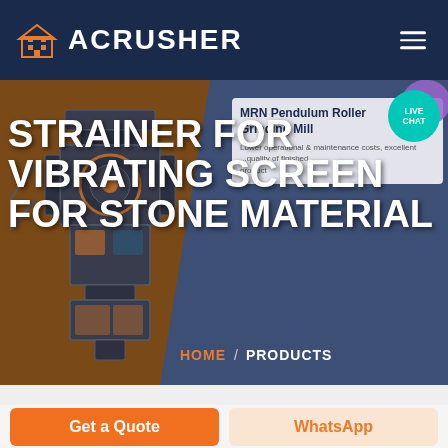[Figure (logo): ACRUSHER logo with orange building icon on dark navy header bar]
[Figure (screenshot): Hero banner with industrial crusher machine on brown/dark blue background. Overlay slide showing 'MRN Pendulum Roller Grinding Mill' with description text 'Lower operational & maintenance costs, excellent...quality of finished product'. Live Chat teal button top right.]
STRAINER FOR VIBRATING SCREEN FOR STONE MATERIAL
HOME / PRODUCTS
Get a Quote
WhatsApp